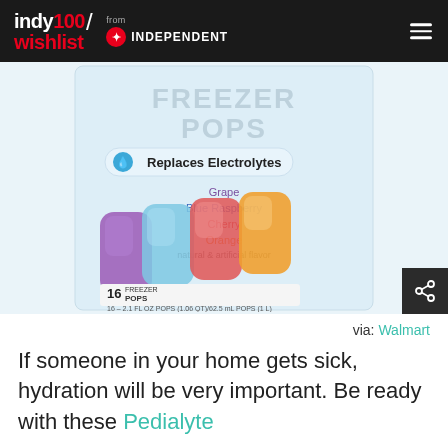indy100/ wishlist from INDEPENDENT
[Figure (photo): Pedialyte Freezer Pops product package showing 16 freezer pops in grape, blue raspberry, cherry, and orange flavors. Package states 'Replaces Electrolytes' and '16 Freezer Pops, 16-2.1 FL OZ POPS (1.06 QT)/62.5 mL POPS (1L)']
via: Walmart
If someone in your home gets sick, hydration will be very important. Be ready with these Pedialyte